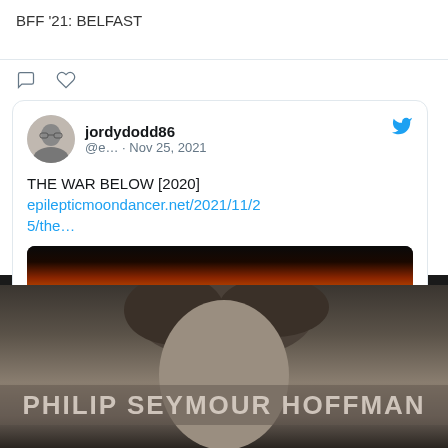BFF '21: BELFAST
[Figure (screenshot): Tweet icons: comment bubble and heart]
[Figure (screenshot): Tweet card from jordydodd86 (@e... · Nov 25, 2021) with text 'THE WAR BELOW [2020]' and link epilepticmoondancer.net/2021/11/25/the... with a preview image of silhouettes against orange-red sunset sky]
[Figure (photo): Black and white / sepia portrait photo of Philip Seymour Hoffman with name overlay text 'PHILIP SEYMOUR HOFFMAN']